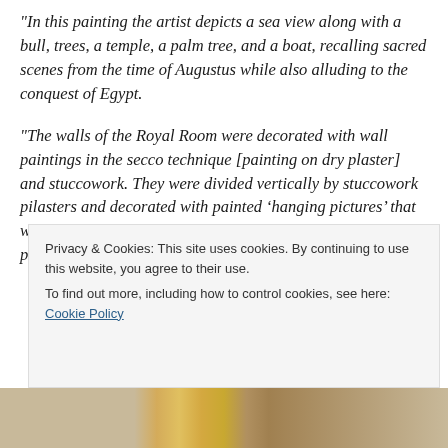“In this painting the artist depicts a sea view along with a bull, trees, a temple, a palm tree, and a boat, recalling sacred scenes from the time of Augustus while also alluding to the conquest of Egypt.
“The walls of the Royal Room were decorated with wall paintings in the secco technique [painting on dry plaster] and stuccowork. They were divided vertically by stuccowork pilasters and decorated with painted ‘hanging pictures’ that were suspended by imaginary ‘strings’ and ‘nails.’ [See the picture above] The pictures imitate
Privacy & Cookies: This site uses cookies. By continuing to use this website, you agree to their use.
To find out more, including how to control cookies, see here: Cookie Policy
Close and accept
[Figure (photo): Bottom portion of a decorative image, partially visible, showing warm brown and golden tones suggesting architectural or artistic detail.]